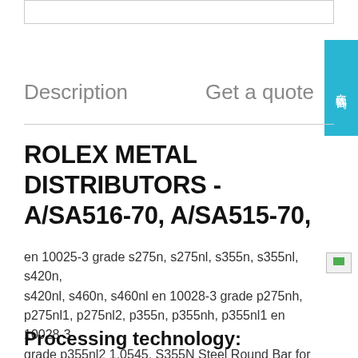Description    Get a quote
ROLEX METAL DISTRIBUTORS - A/SA516-70, A/SA515-70,
en 10025-3 grade s275n, s275nl, s355n, s355nl, s420n, s420nl, s460n, s460nl en 10028-3 grade p275nh, p275nl1, p275nl2, p355n, p355nh, p355nl1 en 10028-3 grade p355nl2 1.0545, S355N Steel Round Bar for Construction, Diameter, Jayant Impex Pvt Ltd, India
Processing technology: